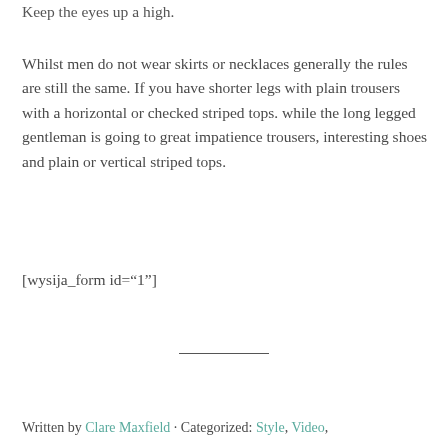Keep the eyes up a high.
Whilst men do not wear skirts or necklaces generally the rules are still the same. If you have shorter legs with plain trousers with a horizontal or checked striped tops. while the long legged gentleman is going to great impatience trousers, interesting shoes and plain or vertical striped tops.
[wysija_form id="1"]
Written by Clare Maxfield · Categorized: Style, Video,